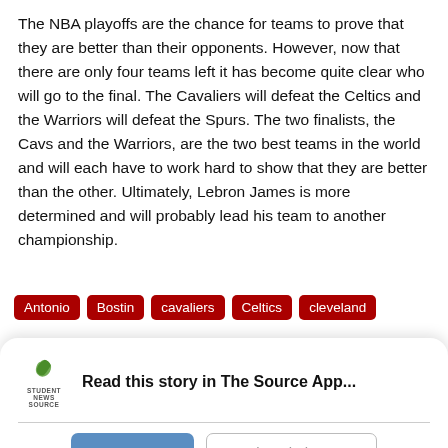The NBA playoffs are the chance for teams to prove that they are better than their opponents. However, now that there are only four teams left it has become quite clear who will go to the final. The Cavaliers will defeat the Celtics and the Warriors will defeat the Spurs. The two finalists, the Cavs and the Warriors, are the two best teams in the world and will each have to work hard to show that they are better than the other. Ultimately, Lebron James is more determined and will probably lead his team to another championship.
Antonio
Bostin
cavaliers
Celtics
cleveland
Read this story in The Source App...
Open App
Continue in browser